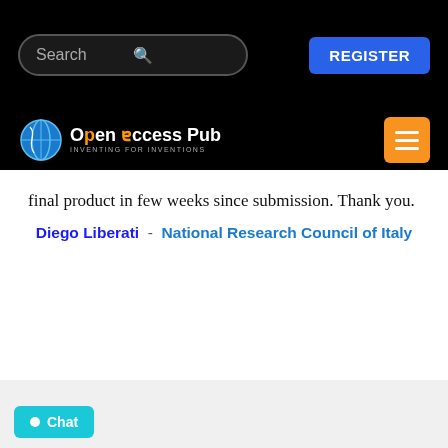[Figure (screenshot): Website navigation bar with search box and REGISTER button on black background]
[Figure (logo): Open Access Pub logo with globe icon and orange menu button on black background]
final product in few weeks since submission. Thank you.
Diego Liberati  -  National Research Council of Italy